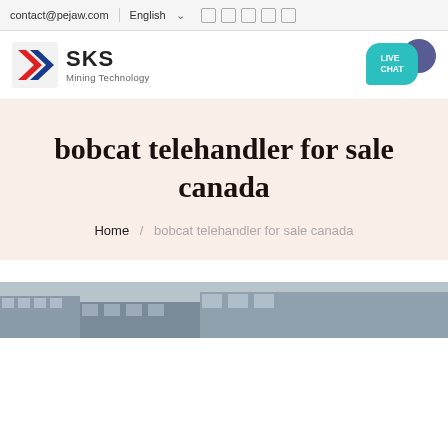contact@pejaw.com  English  [icons]
[Figure (logo): SKS Mining Technology logo with red and blue chevron icon]
[Figure (illustration): Live Chat bubble in teal with dark blue chat icon]
bobcat telehandler for sale canada
Home / bobcat telehandler for sale canada
[Figure (photo): Partial view of a building/factory at the bottom of the page]